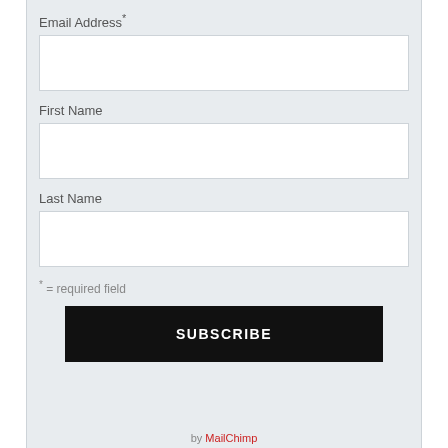Email Address*
First Name
Last Name
* = required field
SUBSCRIBE